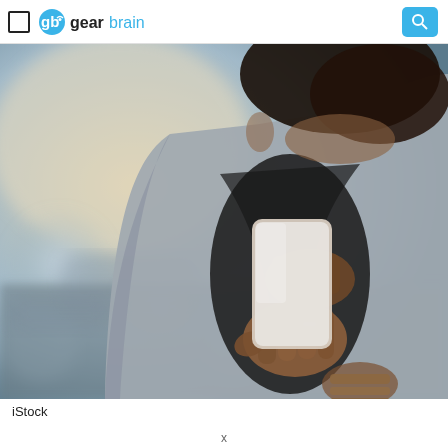gearbrain
[Figure (photo): A woman holding a smartphone with both hands outdoors, wearing a grey blazer and bracelets, with a blurred street background.]
iStock